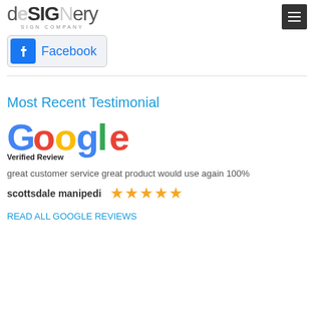[Figure (logo): deSIGNery Sign Company logo with menu button]
[Figure (logo): Facebook button with blue Facebook icon and text]
Most Recent Testimonial
[Figure (logo): Google Verified Review logo]
great customer service great product would use again 100%
scottsdale manipedi ★★★★★
READ ALL GOOGLE REVIEWS